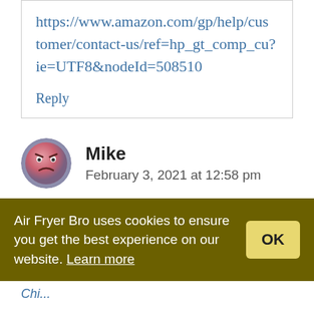https://www.amazon.com/gp/help/customer/contact-us/ref=hp_gt_comp_cu?ie=UTF8&nodeId=508510
Reply
Mike
February 3, 2021 at 12:58 pm
Air Fryer Bro uses cookies to ensure you get the best experience on our website. Learn more